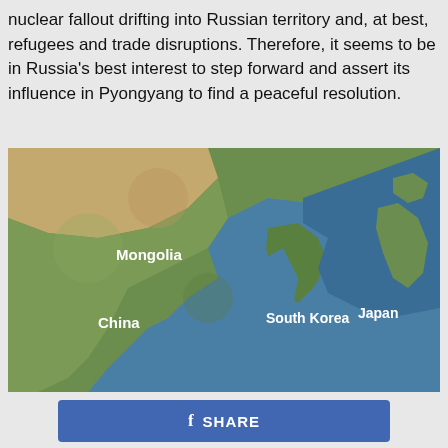nuclear fallout drifting into Russian territory and, at best, refugees and trade disruptions. Therefore, it seems to be in Russia's best interest to step forward and assert its influence in Pyongyang to find a peaceful resolution.
[Figure (map): Satellite/terrain map showing East Asia region including Mongolia, China, South Korea, and Japan with country labels in white text.]
f SHARE